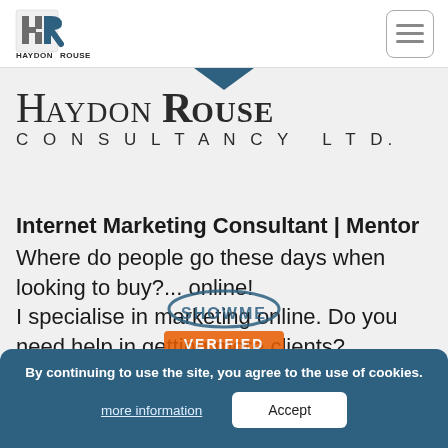[Figure (logo): Haydon Rouse logo with HR monogram in grey/blue and text HAYDON ROUSE in serif font]
[Figure (other): Hamburger menu icon button with three horizontal lines inside a rounded rectangle]
HAYDON ROUSE CONSULTANCY LTD.
Internet Marketing Consultant | Mentor
Where do people go these days when looking to buy?... online!
I specialise in marketing online. Do you need help in getting more clients?

I provide local marketing services to businesses and organisations.
By continuing to use the site, you agree to the use of cookies.
more information
Accept
[Figure (logo): Showme Verified badge with orange and blue colours]